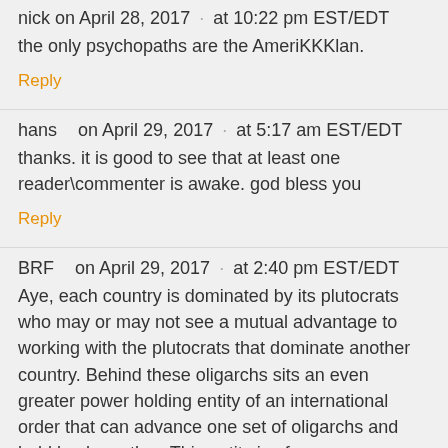nick  on April 28, 2017 · at 10:22 pm EST/EDT
the only psychopaths are the AmeriKKKlan.
Reply
hans   on April 29, 2017 · at 5:17 am EST/EDT
thanks. it is good to see that at least one reader\commenter is awake. god bless you
Reply
BRF   on April 29, 2017 · at 2:40 pm EST/EDT
Aye, each country is dominated by its plutocrats who may or may not see a mutual advantage to working with the plutocrats that dominate another country. Behind these oligarchs sits an even greater power holding entity of an international order that can advance one set of oligarchs and hold back another. This entity is of course an international cabal of the very few bankers who have commandeered the central banks of almost all nations of this world and own the omnipotent power to create money and credit as debt all owed to themselves. These bankers certainly own the